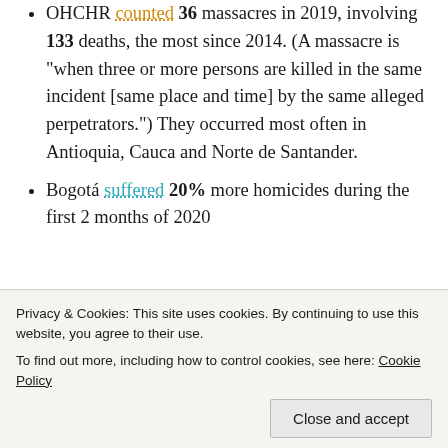OHCHR counted 36 massacres in 2019, involving 133 deaths, the most since 2014. (A massacre is "when three or more persons are killed in the same incident [same place and time] by the same alleged perpetrators.") They occurred most often in Antioquia, Cauca and Norte de Santander.
Bogotá suffered 20% more homicides during the first 2 months of 2020
Privacy & Cookies: This site uses cookies. By continuing to use this website, you agree to their use. To find out more, including how to control cookies, see here: Cookie Policy